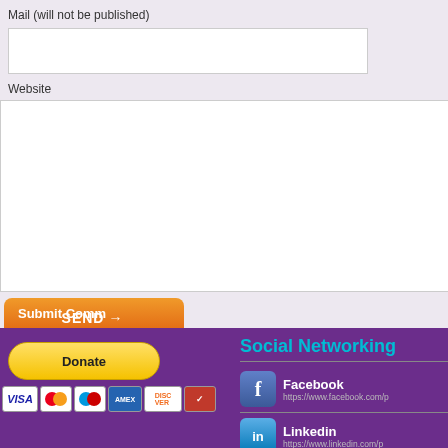Mail (will not be published)
Website
[Figure (screenshot): Orange submit/send button with arrow icon and 'SEND' text overlaid with 'Submit Comm' text]
[Figure (screenshot): Footer section with purple background containing PayPal Donate button, payment card icons (Visa, Mastercard, Maestro, Amex, Discover), Social Networking section with Facebook and LinkedIn links]
Social Networking
Facebook
https://www.facebook.com/p
Linkedin
https://www.linkedin.com/p